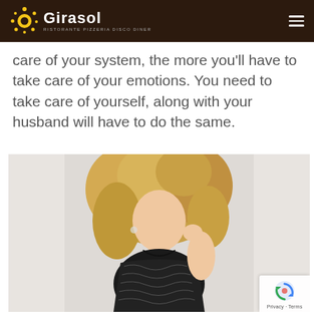Girasol — RISTORANTE PIZZERIA DISCO DINER
care of your system, the more you'll have to take care of your emotions. You need to take care of yourself, along with your husband will have to do the same.
[Figure (photo): A woman with long blonde hair wearing a black sequined/beaded dress, posing against a white background in a fashion photo style.]